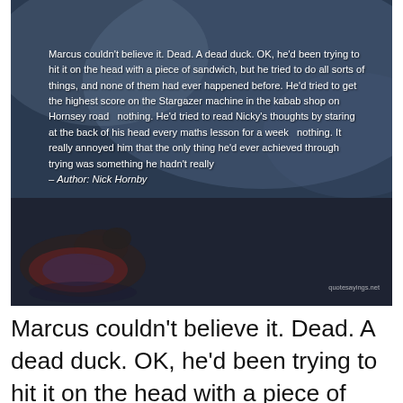[Figure (photo): A dark atmospheric photo (cloudy sky/duck scene) overlaid with a quote from Nick Hornby about Marcus and a dead duck, with white text on a dark background. Watermark: quotesayings.net]
Marcus couldn't believe it. Dead. A dead duck. OK, he'd been trying to hit it on the head with a piece of sandwich, but he tried to do all sorts of things, and